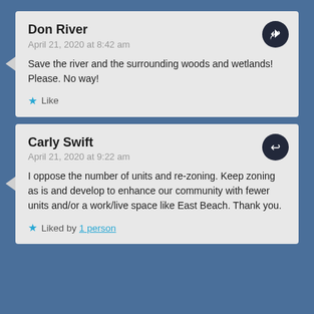Don River
April 21, 2020 at 8:42 am
Save the river and the surrounding woods and wetlands! Please. No way!
Like
Carly Swift
April 21, 2020 at 9:22 am
I oppose the number of units and re-zoning. Keep zoning as is and develop to enhance our community with fewer units and/or a work/live space like East Beach. Thank you.
Liked by 1 person